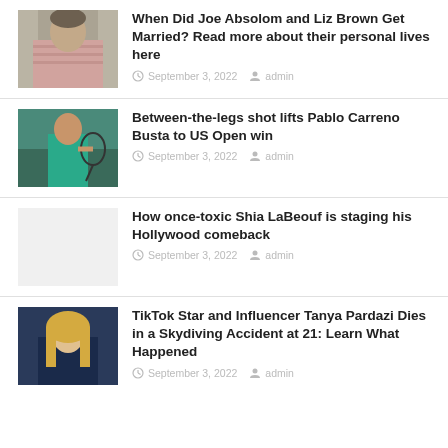[Figure (photo): Man in pink striped shirt outdoors]
When Did Joe Absolom and Liz Brown Get Married? Read more about their personal lives here
September 3, 2022   admin
[Figure (photo): Tennis player in teal shirt holding racket]
Between-the-legs shot lifts Pablo Carreno Busta to US Open win
September 3, 2022   admin
[Figure (photo): Light gray placeholder image]
How once-toxic Shia LaBeouf is staging his Hollywood comeback
September 3, 2022   admin
[Figure (photo): Blonde woman in dark outfit]
TikTok Star and Influencer Tanya Pardazi Dies in a Skydiving Accident at 21: Learn What Happened
September 3, 2022   admin